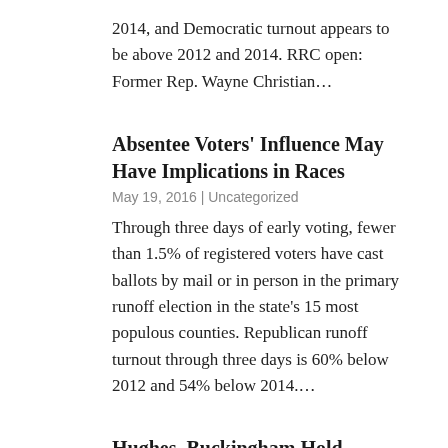2014, and Democratic turnout appears to be above 2012 and 2014. RRC open: Former Rep. Wayne Christian…
Absentee Voters' Influence May Have Implications in Races
May 19, 2016 | Uncategorized
Through three days of early voting, fewer than 1.5% of registered voters have cast ballots by mail or in person in the primary runoff election in the state's 15 most populous counties. Republican runoff turnout through three days is 60% below 2012 and 54% below 2014….
Hughes, Buckingham Hold Financial Advantages